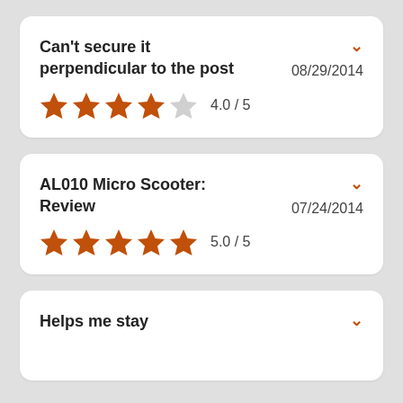Can't secure it perpendicular to the post
AL010 Micro Scooter: Review
Helps me stay